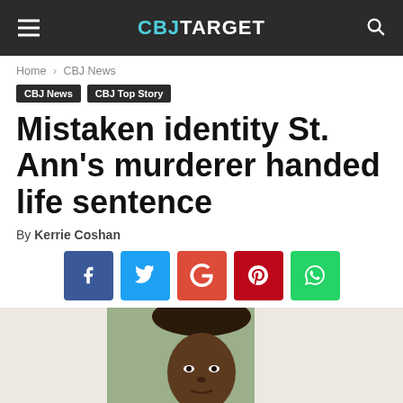CBJ TARGET
Home › CBJ News
CBJ News  CBJ Top Story
Mistaken identity St. Ann's murderer handed life sentence
By Kerrie Coshan
[Figure (other): Social sharing buttons: Facebook, Twitter, Google+, Pinterest, WhatsApp]
[Figure (photo): Mugshot photo of a man with dreadlocks against a green background]